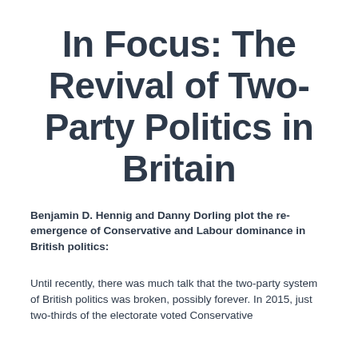In Focus: The Revival of Two-Party Politics in Britain
Benjamin D. Hennig and Danny Dorling plot the re-emergence of Conservative and Labour dominance in British politics:
Until recently, there was much talk that the two-party system of British politics was broken, possibly forever. In 2015, just two-thirds of the electorate voted Conservative